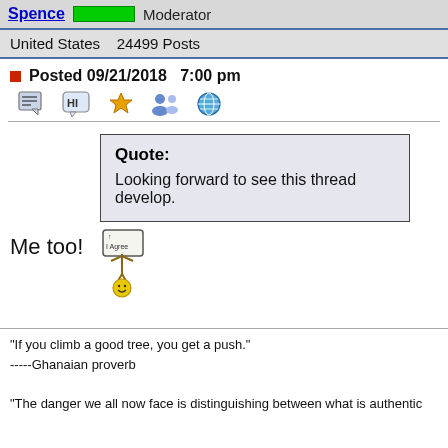Spence   Moderator
United States   24499 Posts
Posted 09/21/2018  7:00 pm
[Figure (screenshot): Forum toolbar icons: quote, hi, star, group, world]
Quote:
Looking forward to see this thread develop.
Me too!
[Figure (illustration): I Agree emoticon: smiley holding a sign]
"If you climb a good tree, you get a push."
-----Ghanaian proverb

"The danger we all now face is distinguishing between what is authentic